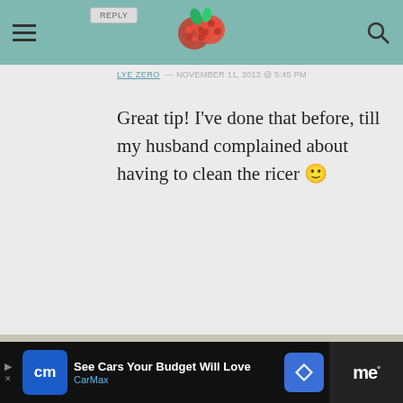Navigation bar with hamburger menu, raspberry logo, and search icon
Great tip! I've done that before, till my husband complained about having to clean the ricer 🙂
LAURA — JUNE 30, 2013 @ 7:44 PM REPLY
These are in the oven now. I used cheddar cheese instead and added crumbled bacon. My only problem is that I HATE puff pastry. When cutting the slices, the pastry just flaked off and it about. I'm sure it will still taste good, but its
19.6K
WHAT'S NEXT → Spinach Feta Pinwheels
[Figure (infographic): CarMax advertisement banner: 'See Cars Your Budget Will Love' with CarMax logo and navigation arrow icon]